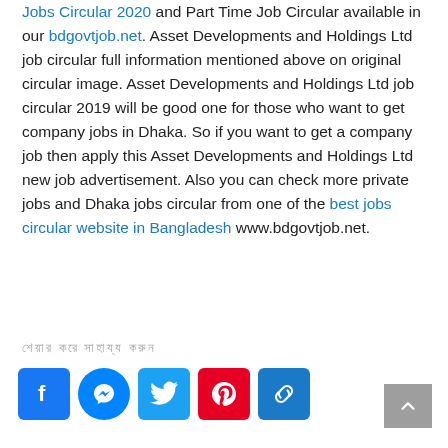Jobs Circular 2020 and Part Time Job Circular available in our bdgovtjob.net. Asset Developments and Holdings Ltd job circular full information mentioned above on original circular image. Asset Developments and Holdings Ltd job circular 2019 will be good one for those who want to get company jobs in Dhaka. So if you want to get a company job then apply this Asset Developments and Holdings Ltd new job advertisement. Also you can check more private jobs and Dhaka jobs circular from one of the best jobs circular website in Bangladesh www.bdgovtjob.net.
শেয়ার করে সাহায্য করুন
[Figure (other): Social sharing buttons: Facebook, Messenger, Twitter, Pinterest, Copy Link]